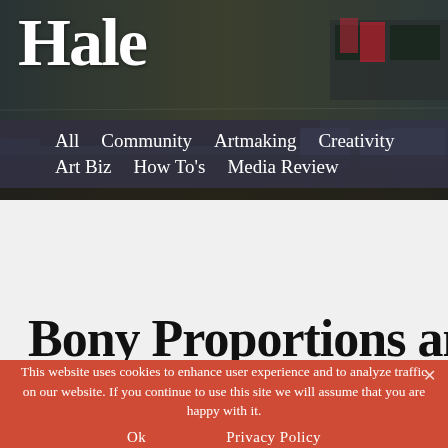[Figure (photo): Classroom interior photo showing desks, chairs, and shelves in a blue-tinted dark environment, used as a website header background image]
Hale
All  Community  Artmaking  Creativity  Art Biz  How To's  Media Review
Bony Proportions and
This website uses cookies to enhance user experience and to analyze traffic on our website. If you continue to use this site we will assume that you are happy with it.
Ok    Privacy Policy